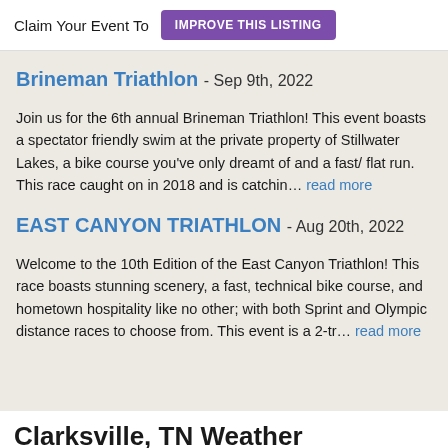Claim Your Event To  IMPROVE THIS LISTING
Brineman Triathlon - Sep 9th, 2022
Join us for the 6th annual Brineman Triathlon! This event boasts a spectator friendly swim at the private property of Stillwater Lakes, a bike course you've only dreamt of and a fast/ flat run. This race caught on in 2018 and is catchin... read more
EAST CANYON TRIATHLON - Aug 20th, 2022
Welcome to the 10th Edition of the East Canyon Triathlon! This race boasts stunning scenery, a fast, technical bike course, and hometown hospitality like no other; with both Sprint and Olympic distance races to choose from. This event is a 2-tr... read more
Clarksville, TN Weather